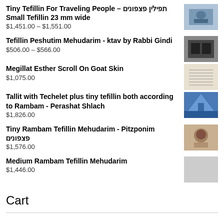Tiny Tefillin For Traveling People – תפילין פצפונים Small Tefillin 23 mm wide
$1,451.00 – $1,551.00
Tefillin Peshutim Mehudarim - ktav by Rabbi Gindi
$506.00 – $566.00
Megillat Esther Scroll On Goat Skin
$1,075.00
Tallit with Techelet plus tiny tefillin both according to Rambam - Perashat Shlach
$1,826.00
Tiny Rambam Tefillin Mehudarim - Pitzponim פצפונים
$1,576.00
Medium Rambam Tefillin Mehudarim
$1,446.00
Cart